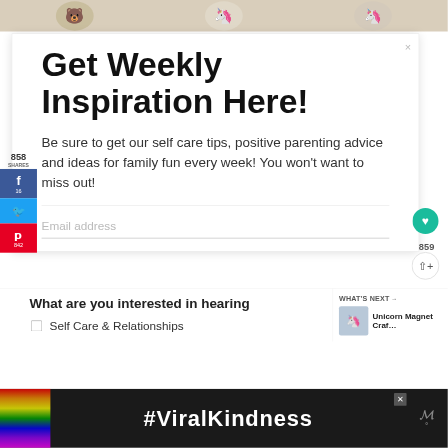[Figure (illustration): Top strip showing three circular cartoon/illustration stickers on a light beige background]
Get Weekly Inspiration Here!
Be sure to get our self care tips, positive parenting advice and ideas for family fun every week! You won't want to miss out!
Email address
858
SHARES
16
842
859
What are you interested in hearing
WHAT'S NEXT →
Unicorn Magnet Craf...
Self Care & Relationships
[Figure (infographic): #ViralKindness ad banner with rainbow image on dark background]